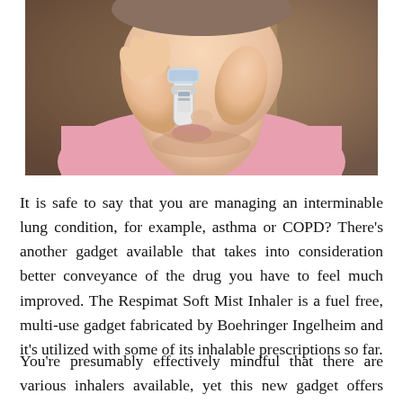[Figure (photo): Close-up photograph of a woman in a pink top using a Respimat Soft Mist Inhaler, holding it to her lips with both hands against a blurred background.]
It is safe to say that you are managing an interminable lung condition, for example, asthma or COPD? There's another gadget available that takes into consideration better conveyance of the drug you have to feel much improved. The Respimat Soft Mist Inhaler is a fuel free, multi-use gadget fabricated by Boehringer Ingelheim and it's utilized with some of its inhalable prescriptions so far.
You're presumably effectively mindful that there are various inhalers available, yet this new gadget offers better